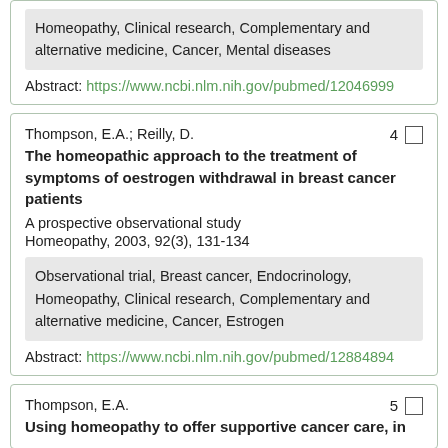Homeopathy, Clinical research, Complementary and alternative medicine, Cancer, Mental diseases
Abstract: https://www.ncbi.nlm.nih.gov/pubmed/12046999
Thompson, E.A.; Reilly, D.
The homeopathic approach to the treatment of symptoms of oestrogen withdrawal in breast cancer patients
A prospective observational study
Homeopathy, 2003, 92(3), 131-134
Observational trial, Breast cancer, Endocrinology, Homeopathy, Clinical research, Complementary and alternative medicine, Cancer, Estrogen
Abstract: https://www.ncbi.nlm.nih.gov/pubmed/12884894
Thompson, E.A.
Using homeopathy to offer supportive cancer care, in